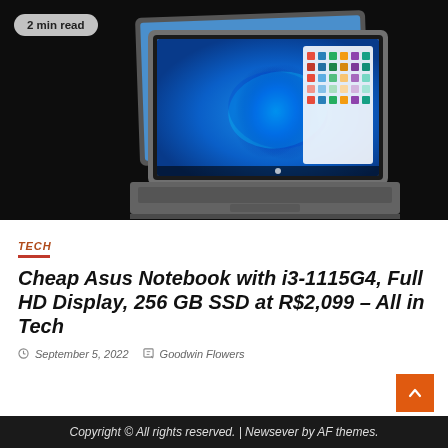[Figure (photo): ASUS laptop with Windows 11 displayed on screen, shown at an angle on a black background. A '2 min read' badge is in the top-left corner.]
TECH
Cheap Asus Notebook with i3-1115G4, Full HD Display, 256 GB SSD at R$2,099 – All in Tech
September 5, 2022   Goodwin Flowers
Copyright © All rights reserved. | Newsever by AF themes.